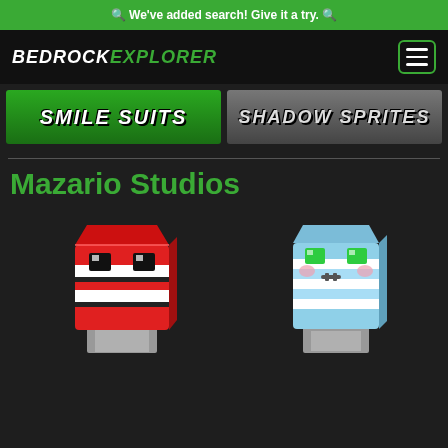🔍 We've added search! Give it a try. 🔍
[Figure (logo): BedrockExplorer logo in white and green italic bold text]
[Figure (other): Hamburger menu button with green border]
[Figure (other): Smile Suits green banner with white text]
[Figure (other): Shadow Sprites dark banner with white text]
Mazario Studios
[Figure (illustration): Minecraft character with red and white striped cube head, rendered in 3D isometric style]
[Figure (illustration): Minecraft character with light blue cube head and green eyes, rendered in 3D isometric style]